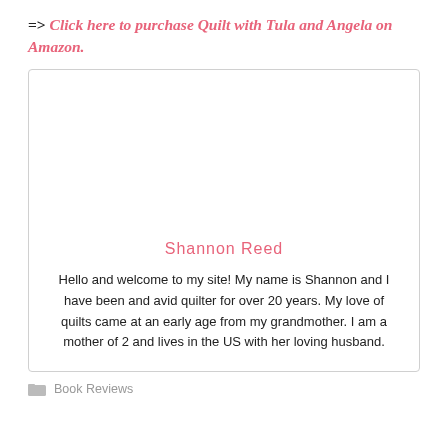=> Click here to purchase Quilt with Tula and Angela on Amazon.
[Figure (other): Author profile card with image placeholder for Shannon Reed, including name and bio text]
Book Reviews